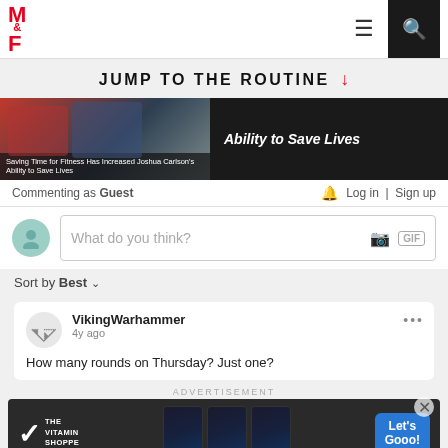M&F logo header with hamburger menu and search
JUMP TO THE ROUTINE ↓
[Figure (screenshot): Article thumbnail image showing fitness/military related photo with caption: Saving Time for Fitness Has Increased Joshua Carlson's Ability to Save Lives]
Ability to Save Lives
Commenting as Guest   🔔 Log in   Sign up
What do you think?
Sort by Best ∨
VikingWarhammer
4y ago
How many rounds on Thursday? Just one?
ADVERTISEMENT
[Figure (screenshot): The Vitamin Shoppe advertisement banner with supplement products and 'Let's Gooo!' call-to-action button]